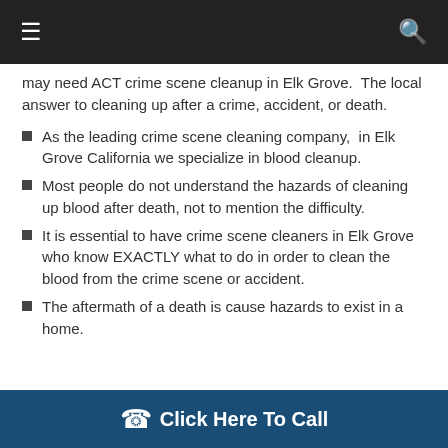Navigation bar with hamburger menu and search icon
may need ACT crime scene cleanup in Elk Grove.  The local answer to cleaning up after a crime, accident, or death.
As the leading crime scene cleaning company,  in Elk Grove California we specialize in blood cleanup.
Most people do not understand the hazards of cleaning up blood after death, not to mention the difficulty.
It is essential to have crime scene cleaners in Elk Grove who know EXACTLY what to do in order to clean the blood from the crime scene or accident.
The aftermath of a death is cause hazards to exist in a home.
Click Here To Call